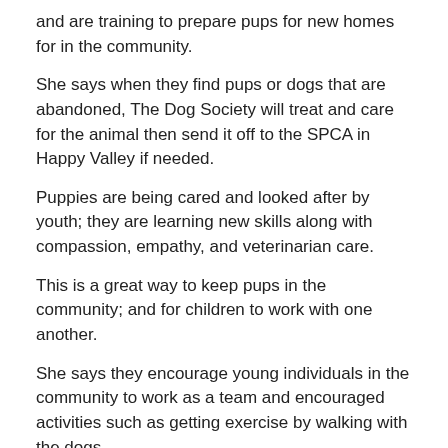and are training to prepare pups for new homes for in the community.
She says when they find pups or dogs that are abandoned, The Dog Society will treat and care for the animal then send it off to the SPCA in Happy Valley if needed.
Puppies are being cared and looked after by youth; they are learning new skills along with compassion, empathy, and veterinarian care.
This is a great way to keep pups in the community; and for children to work with one another.
She says they encourage young individuals in the community to work as a team and encouraged activities such as getting exercise by walking with the dogs.
They requested for a small piece of property from the Hopedale Inuit Community Government.
She says they also have a Facebook page which is called: "Hopedale Dog Society"